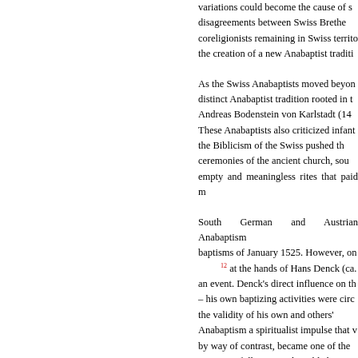variations could become the cause of s disagreements between Swiss Brethe coreligionists remaining in Swiss territo the creation of a new Anabaptist traditi
As the Swiss Anabaptists moved beyon distinct Anabaptist tradition rooted in t Andreas Bodenstein von Karlstadt (14 These Anabaptists also criticized infant the Biblicism of the Swiss pushed th ceremonies of the ancient church, sou empty and meaningless rites that paid m
South German and Austrian Anabaptism baptisms of January 1525. However, on [12] at the hands of Hans Denck (ca. an event. Denck's direct influence on th – his own baptizing activities were circ the validity of his own and others' Anabaptism a spiritualist impulse that v by way of contrast, became one of the recruiting followers and establishing c possibly even Silesia. Hut's thought wa 1527 and the failure of the end times disillusionment set in among many c